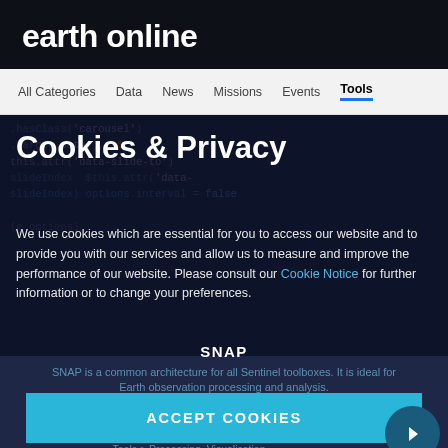earth online
All Categories   Data   News   Missions   Events   Tools
Cookies & Privacy
We use cookies which are essential for you to access our website and to provide you with our services and allow us to measure and improve the performance of our website. Please consult our Cookie Notice for further information or to change your preferences.
SNAP
SNAP is a common architecture for all Sentinel toolboxes. It is ideal for Earth observation processing and analysis.
ACCEPT COOKIES
ACCEPT ONLY ESSENTIAL COOKIES
Tools > Processing, Visualisation